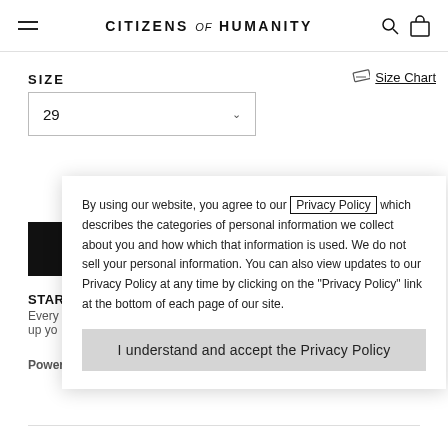Citizens of Humanity
SIZE
29
Size Chart
By using our website, you agree to our Privacy Policy which describes the categories of personal information we collect about you and how which that information is used. We do not sell your personal information. You can also view updates to our Privacy Policy at any time by clicking on the "Privacy Policy" link at the bottom of each page of our site.
I understand and accept the Privacy Policy